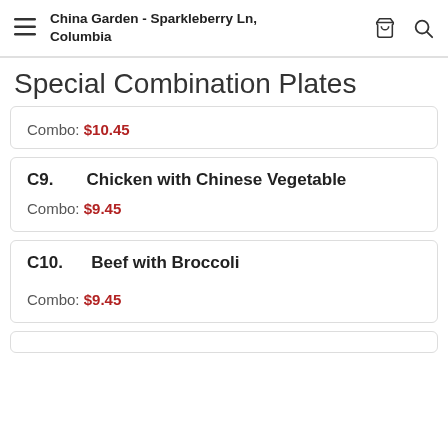China Garden - Sparkleberry Ln, Columbia
Special Combination Plates
Combo: $10.45
C9.  Chicken with Chinese Vegetable
Combo: $9.45
C10.  Beef with Broccoli
Combo: $9.45